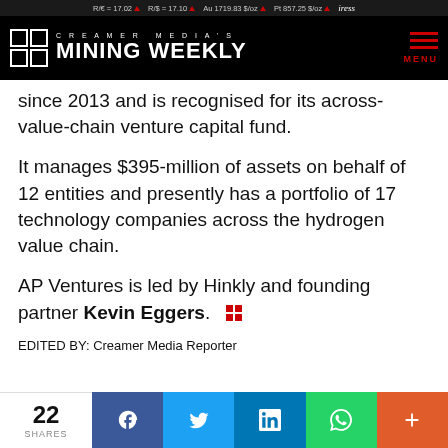R/€ = 17.02 ▲  R/$ = 17.10 ▲  Au 1719.83 $/oz ▲  Pt 857.25 $/oz ▲  iress
[Figure (logo): Creamer Media's Mining Weekly logo on black background with red grid icon and hamburger menu]
since 2013 and is recognised for its across-value-chain venture capital fund.
It manages $395-million of assets on behalf of 12 entities and presently has a portfolio of 17 technology companies across the hydrogen value chain.
AP Ventures is led by Hinkly and founding partner Kevin Eggers.
EDITED BY: Creamer Media Reporter
22 SHARES  [Facebook] [Twitter] [LinkedIn] [WhatsApp] [+]